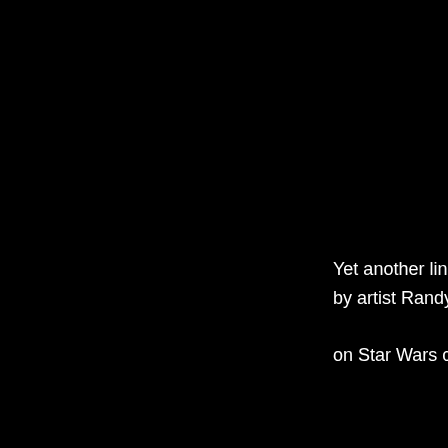Yet another link fro by artist Randy Ma on Star Wars chara